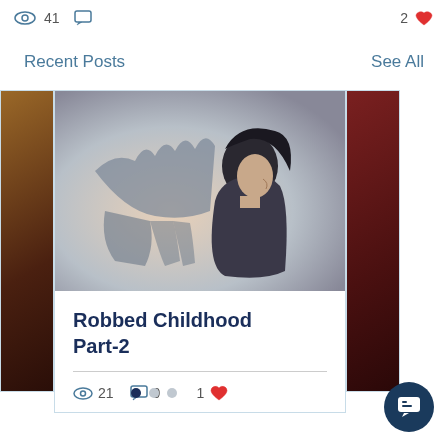41 views  2 likes
Recent Posts
See All
[Figure (photo): Dark artistic photo of a person in profile with dramatic shadow hands on wall behind them]
Robbed Childhood Part-2
21 views  0 comments  1 like